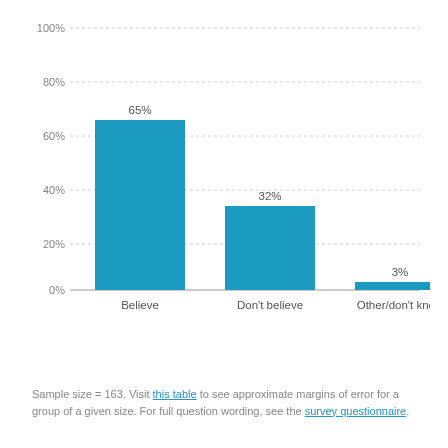[Figure (bar-chart): ]
Sample size = 163. Visit this table to see approximate margins of error for a group of a given size. For full question wording, see the survey questionnaire.